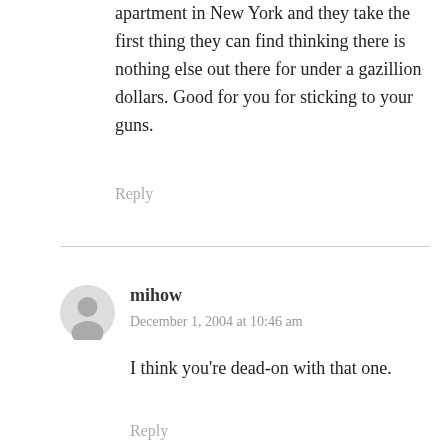apartment in New York and they take the first thing they can find thinking there is nothing else out there for under a gazillion dollars. Good for you for sticking to your guns.
Reply
mihow
December 1, 2004 at 10:46 am
I think you're dead-on with that one.
Reply